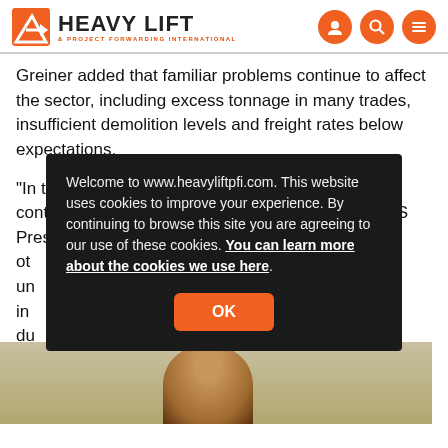HEAVY LIFT & Project Forwarding International
Greiner added that familiar problems continue to affect the sector, including excess tonnage in many trades, insufficient demolition levels and freight rates below expectations.
"In the wider world, the impact on shipping of continuing political unrest in the Middle East, the US President's proposal to [obscured by overlay]
[Figure (screenshot): Cookie consent overlay on heavyliftpfi.com website. Dark background popup stating: 'Welcome to www.heavyliftpfi.com. This website uses cookies to improve your experience. By continuing to browse this site you are agreeing to our use of these cookies. You can learn more about the cookies we use here.' with an OK button in orange.]
[Figure (photo): Partial photo of a person's head/face at the bottom of the page, cropped.]